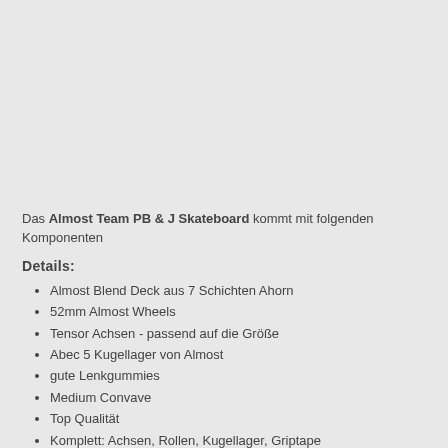Das Almost Team PB & J Skateboard kommt mit folgenden Komponenten
Details:
Almost Blend Deck aus 7 Schichten Ahorn
52mm Almost Wheels
Tensor Achsen - passend auf die Größe
Abec 5 Kugellager von Almost
gute Lenkgummies
Medium Convave
Top Qualität
Komplett: Achsen, Rollen, Kugellager, Griptape
Breite: 7.625 x 31.5 Inch
Farbe: Multi